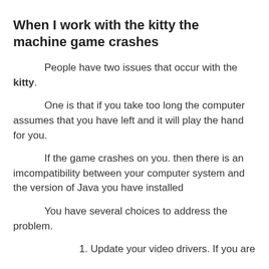When I work with the kitty the machine game crashes
People have two issues that occur with the kitty.
One is that if you take too long the computer assumes that you have left and it will play the hand for you.
If the game crashes on you. then there is an imcompatibility between your computer system and the version of Java you have installed
You have several choices to address the problem.
1.  Update your video drivers.  If you are